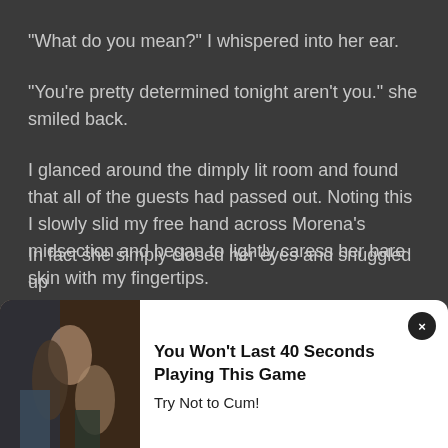“What do you mean?” I whispered into her ear.
“You’re pretty determined tonight aren’t you.” she smiled back.
I glanced around the dimply lit room and found that all of the guests had passed out. Noting this I slowly slid my free hand across Morena’s midsection and began to lightly caress her bare skin with my fingertips.
I smirked smugly to myself as I felt her immediately respond to this action, squirming and trembling to my touch. I then watched for any reaction so as to stop in
[Figure (photo): Advertisement overlay with image of couple and text: You Won't Last 40 Seconds Playing This Game. Try Not to Cum!]
In fact she simply closed her eyes and snuggled up